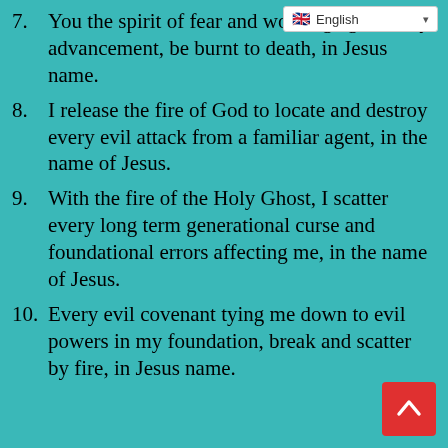7. You the spirit of fear and working against my advancement, be burnt to death, in Jesus name.
8. I release the fire of God to locate and destroy every evil attack from a familiar agent, in the name of Jesus.
9. With the fire of the Holy Ghost, I scatter every long term generational curse and foundational errors affecting me, in the name of Jesus.
10. Every evil covenant tying me down to evil powers in my foundation, break and scatter by fire, in Jesus name.